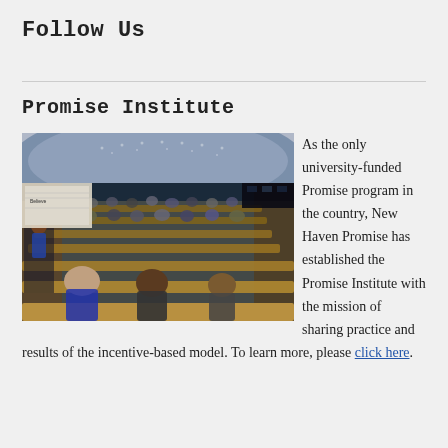Follow Us
Promise Institute
[Figure (photo): A large curved auditorium lecture hall filled with attendees seated at tiered wooden desks, with a presenter at a podium near a projection screen displaying 'Believe'.]
As the only university-funded Promise program in the country, New Haven Promise has established the Promise Institute with the mission of sharing practice and results of the incentive-based model. To learn more, please click here.